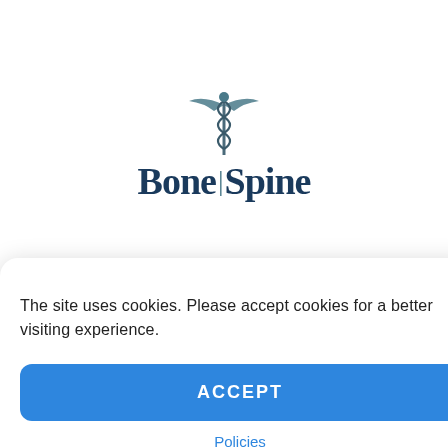[Figure (logo): Bone & Spine website logo with caduceus medical symbol]
The site uses cookies. Please accept cookies for a better visiting experience.
ACCEPT
Policies
[Figure (screenshot): Advertisement banner: Women's Fashion | Shop Online | VENUS. Shop the best in women's fashion, clothing, swimwear. venus.com]